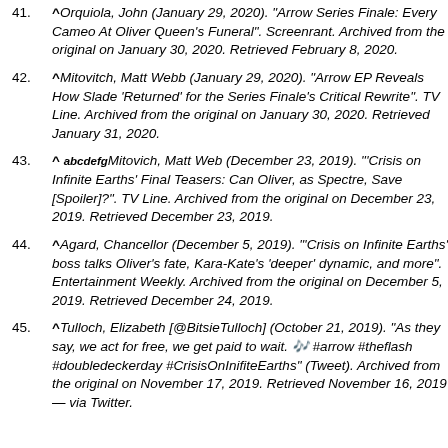41. ^Orquiola, John (January 29, 2020). "Arrow Series Finale: Every Cameo At Oliver Queen's Funeral". Screenrant. Archived from the original on January 30, 2020. Retrieved February 8, 2020.
42. ^Mitovitch, Matt Webb (January 29, 2020). "Arrow EP Reveals How Slade 'Returned' for the Series Finale's Critical Rewrite". TV Line. Archived from the original on January 30, 2020. Retrieved January 31, 2020.
43. ^ abcdefgMitovich, Matt Web (December 23, 2019). "'Crisis on Infinite Earths' Final Teasers: Can Oliver, as Spectre, Save [Spoiler]?". TV Line. Archived from the original on December 23, 2019. Retrieved December 23, 2019.
44. ^Agard, Chancellor (December 5, 2019). "'Crisis on Infinite Earths' boss talks Oliver's fate, Kara-Kate's 'deeper' dynamic, and more". Entertainment Weekly. Archived from the original on December 5, 2019. Retrieved December 24, 2019.
45. ^Tulloch, Elizabeth [@BitsieTulloch] (October 21, 2019). "As they say, we act for free, we get paid to wait. 🎬 #arrow #theflash #doubledeckerday #CrisisOnInifiteEarths" (Tweet). Archived from the original on November 17, 2019. Retrieved November 16, 2019 — via Twitter.